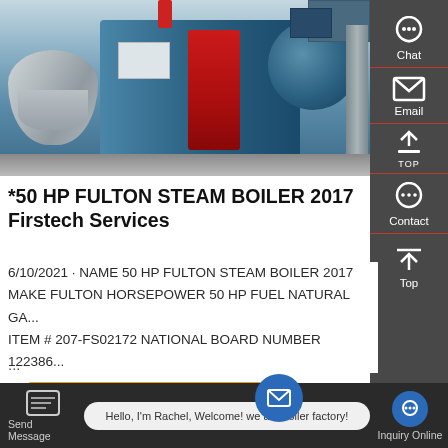[Figure (photo): Industrial steam boiler equipment photo showing a large blue cylindrical boiler, red burner unit, silver insulated tank, and associated piping in an industrial setting.]
*50 HP FULTON STEAM BOILER 2017 Firstech Services
6/10/2021 · NAME 50 HP FULTON STEAM BOILER 2017 MAKE FULTON HORSEPOWER 50 HP FUEL NATURAL GA... ITEM # 207-FS02172 NATIONAL BOARD NUMBER 122386...
...
[Figure (other): Get a Quote button (orange) and email circle button (blue)]
Hello, I'm Rachel, Welcome! we are boiler factory! Send Message    Inquiry Online